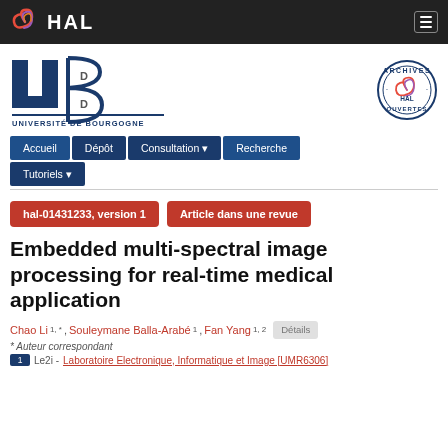HAL — navigation bar with logo and hamburger menu
[Figure (logo): Université de Bourgogne UB logo with outline B shape]
[Figure (logo): HAL Archives Ouvertes circular stamp logo]
Accueil  Dépôt  Consultation  Recherche  Tutoriels
hal-01431233, version 1
Article dans une revue
Embedded multi-spectral image processing for real-time medical application
Chao Li 1, * , Souleymane Balla-Arabé 1 , Fan Yang 1, 2  Détails
* Auteur correspondant
1  Le2i - Laboratoire Electronique, Informatique et Image [UMR6306]